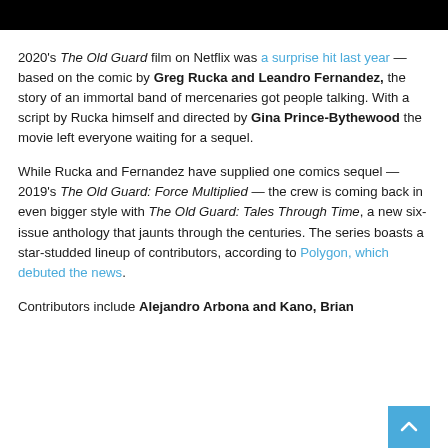[Figure (photo): Black banner/header bar at the top of the page]
2020's The Old Guard film on Netflix was a surprise hit last year — based on the comic by Greg Rucka and Leandro Fernandez, the story of an immortal band of mercenaries got people talking. With a script by Rucka himself and directed by Gina Prince-Bythewood the movie left everyone waiting for a sequel.
While Rucka and Fernandez have supplied one comics sequel — 2019's The Old Guard: Force Multiplied — the crew is coming back in even bigger style with The Old Guard: Tales Through Time, a new six-issue anthology that jaunts through the centuries. The series boasts a star-studded lineup of contributors, according to Polygon, which debuted the news.
Contributors include Alejandro Arbona and Kano, Brian